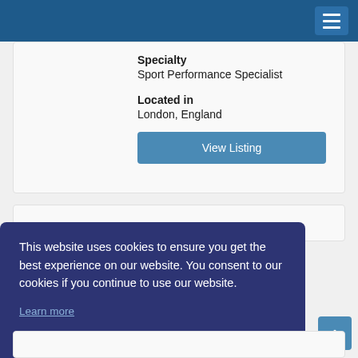Specialty
Sport Performance Specialist
Located in
London, England
View Listing
This website uses cookies to ensure you get the best experience on our website. You consent to our cookies if you continue to use our website.
Learn more
Got it!